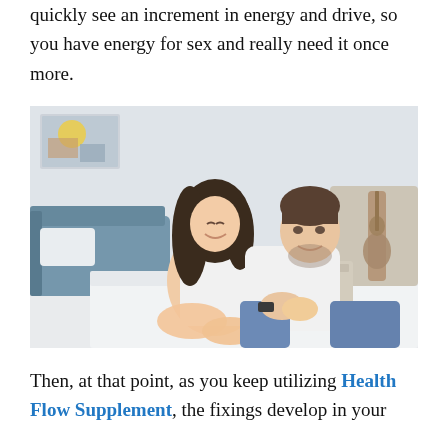quickly see an increment in energy and drive, so you have energy for sex and really need it once more.
[Figure (photo): A smiling couple sitting together on a bed in a bright bedroom. The woman has long dark hair and is leaning into the man who is wearing a white long-sleeve shirt and jeans. A blue couch and guitar are visible in the background.]
Then, at that point, as you keep utilizing Health Flow Supplement, the fixings develop in your